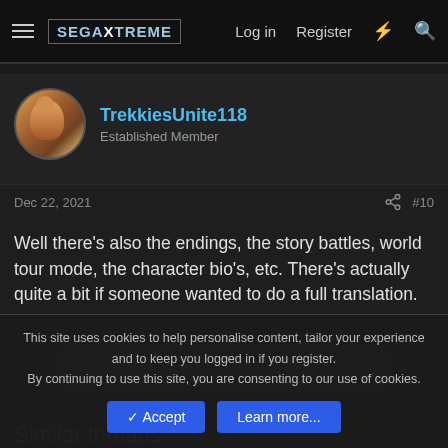SEGAXTREME — Log in  Register
TrekkiesUnite118
Established Member
Dec 22, 2021  #10
Well there's also the endings, the story battles, world tour mode, the character bio's, etc. There's actually quite a bit if someone wanted to do a full translation.
You must log in or register to reply here.
Similar threads
This site uses cookies to help personalise content, tailor your experience and to keep you logged in if you register.
By continuing to use this site, you are consenting to our use of cookies.